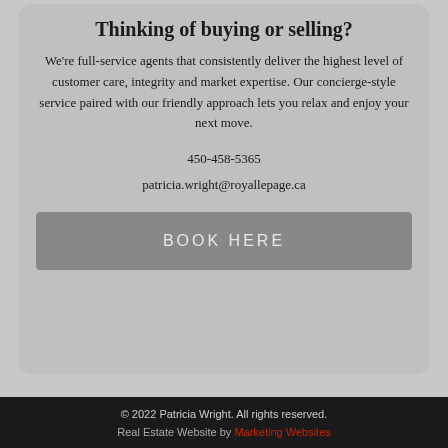Thinking of buying or selling?
We're full-service agents that consistently deliver the highest level of customer care, integrity and market expertise. Our concierge-style service paired with our friendly approach lets you relax and enjoy your next move.
450-458-5365
patricia.wright@royallepage.ca
BOOK HERE
© 2022 Patricia Wright. All rights reserved.
Real Estate Website by Marketing Websites